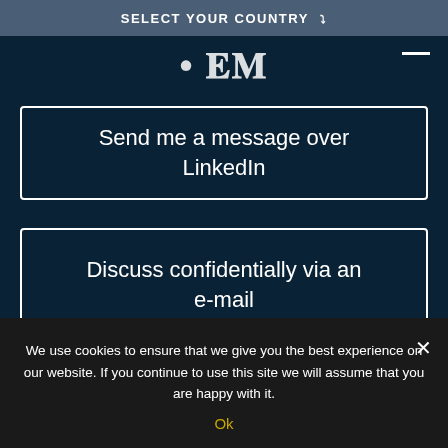SELECT YOUR COUNTRY ▾
[Figure (logo): EMI logo in white text on dark background with navigation hamburger icon]
Send me a message over LinkedIn
Discuss confidentially via an e-mail
Bohuslav
Lipovsky, Managing
We use cookies to ensure that we give you the best experience on our website. If you continue to use this site we will assume that you are happy with it.
Ok